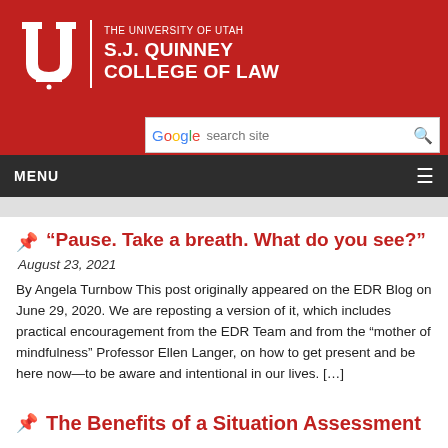[Figure (logo): University of Utah S.J. Quinney College of Law logo with white U block letter on red background]
THE UNIVERSITY OF UTAH S.J. QUINNEY COLLEGE OF LAW
“Pause. Take a breath. What do you see?”
August 23, 2021
By Angela Turnbow This post originally appeared on the EDR Blog on June 29, 2020. We are reposting a version of it, which includes practical encouragement from the EDR Team and from the “mother of mindfulness” Professor Ellen Langer, on how to get present and be here now—to be aware and intentional in our lives. […]
The Benefits of a Situation Assessment